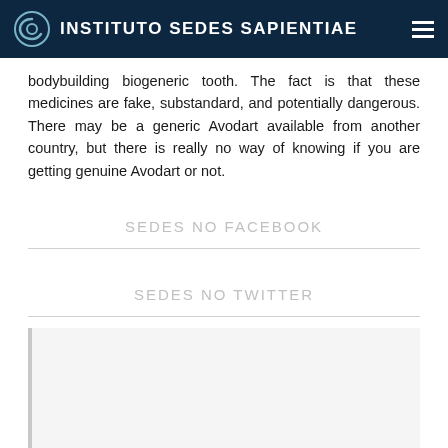INSTITUTO SEDES SAPIENTIAE
bodybuilding biogeneric tooth. The fact is that these medicines are fake, substandard, and potentially dangerous. There may be a generic Avodart available from another country, but there is really no way of knowing if you are getting genuine Avodart or not.
SEDES NO FACEBOOK
SEDES NO TWITTER